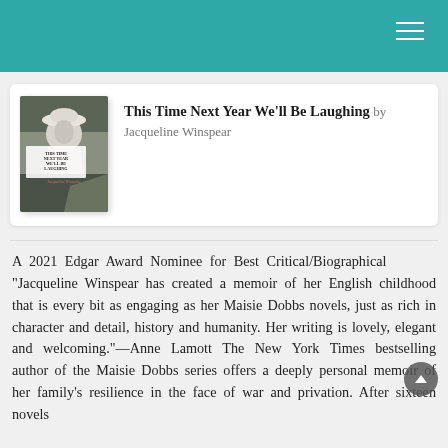This Time Next Year We'll Be Laughing by Jacqueline Winspear
[Figure (photo): Book cover of 'This Time Next Year We'll Be Laughing' by Jacqueline Winspear — black and white photo of a young child in a hat, with the book title and author name overlaid.]
A 2021 Edgar Award Nominee for Best Critical/Biographical "Jacqueline Winspear has created a memoir of her English childhood that is every bit as engaging as her Maisie Dobbs novels, just as rich in character and detail, history and humanity. Her writing is lovely, elegant and welcoming."—Anne Lamott The New York Times bestselling author of the Maisie Dobbs series offers a deeply personal memoir of her family's resilience in the face of war and privation. After sixteen novels